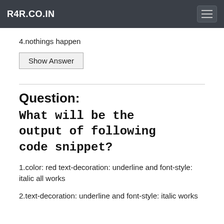R4R.CO.IN
4.nothings happen
Show Answer
Question: What will be the output of following code snippet?
1.color: red text-decoration: underline and font-style: italic all works
2.text-decoration: underline and font-style: italic works